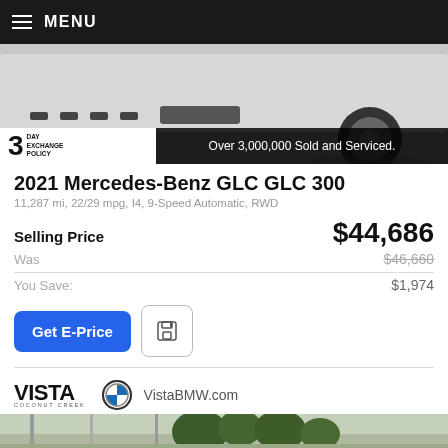MENU
[Figure (photo): Rear/side view of a white 2021 Mercedes-Benz GLC 300 SUV, partially cropped, with a '3 Day Exchange Policy' badge and 'Over 3,000,000 Sold and Serviced.' banner overlay]
2021 Mercedes-Benz GLC GLC 300
11,287 mi, 22/29 mpg, I4, 9-Speed Automatic, RWD
Selling Price $44,686
Was $46,660
You Save: $1,974
Get E-Price
[Figure (logo): VISTA COCONUT CREEK logo, BMW roundel logo, and VistaBMW.com text]
[Figure (photo): Partial exterior photo of a dealership or car lot with trees and poles visible]